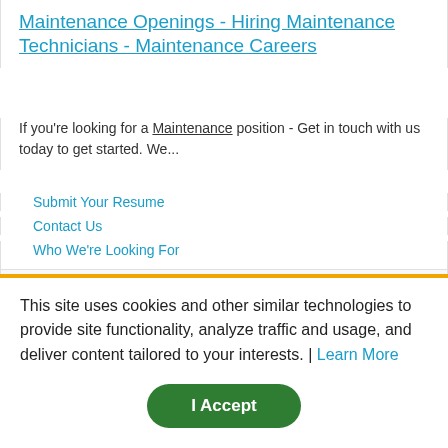Maintenance Openings - Hiring Maintenance Technicians - Maintenance Careers
If you're looking for a Maintenance position - Get in touch with us today to get started. We...
Submit Your Resume
Contact Us
Who We're Looking For
amazon warehouse worker - night shifts available in reston
This site uses cookies and other similar technologies to provide site functionality, analyze traffic and usage, and deliver content tailored to your interests. | Learn More
I Accept